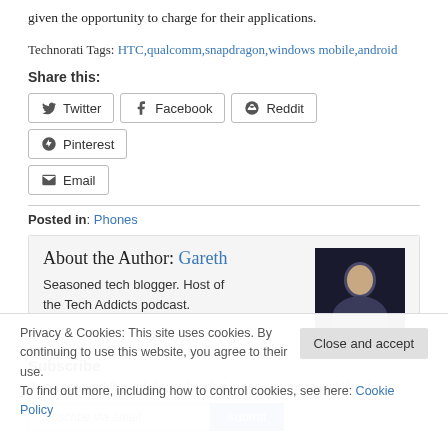given the opportunity to charge for their applications.
Technorati Tags: HTC,qualcomm,snapdragon,windows mobile,android
Share this:
Twitter
Facebook
Reddit
Pinterest
Email
Posted in: Phones
About the Author: Gareth
Seasoned tech blogger. Host of the Tech Addicts podcast.
Privacy & Cookies: This site uses cookies. By continuing to use this website, you agree to their use.
To find out more, including how to control cookies, see here: Cookie Policy
Subscribe
If you enjoyed this article, subscribe to receive more just like it.
subscribe via email
submit
Close and accept